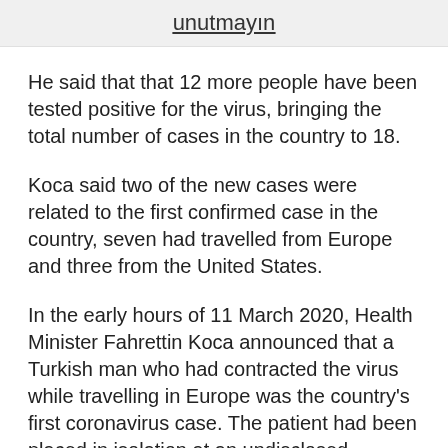unutmayın
He said that that 12 more people have been tested positive for the virus, bringing the total number of cases in the country to 18.
Koca said two of the new cases were related to the first confirmed case in the country, seven had travelled from Europe and three from the United States.
In the early hours of 11 March 2020, Health Minister Fahrettin Koca announced that a Turkish man who had contracted the virus while travelling in Europe was the country's first coronavirus case. The patient had been placed in isolation at an undisclosed